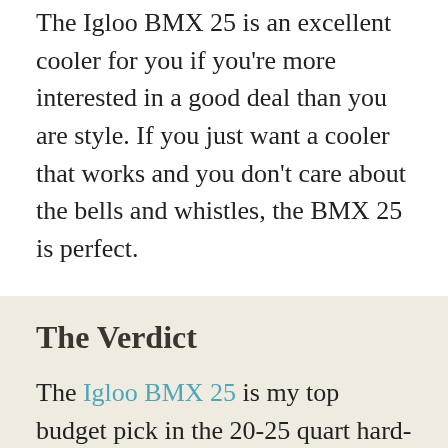The Igloo BMX 25 is an excellent cooler for you if you're more interested in a good deal than you are style. If you just want a cooler that works and you don't care about the bells and whistles, the BMX 25 is perfect.
The Verdict
The Igloo BMX 25 is my top budget pick in the 20-25 quart hard-sided cooler category.
Compared to other brands, it's far lighter and can carry a lot. Plus, the handle makes it easy to transport. And while it didn't do as well as